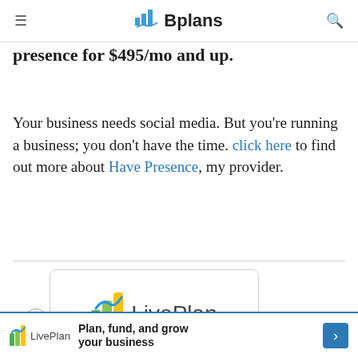Bplans
presence for $495/mo and up.
Your business needs social media. But you're running a business; you don't have the time. click here to find out more about Have Presence, my provider.
[Figure (logo): LivePlan advertisement card showing the LivePlan logo]
[Figure (logo): LivePlan bottom banner advertisement: Plan, fund, and grow your business]